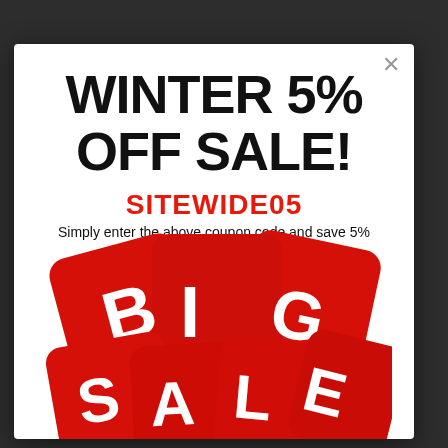WINTER 5% OFF SALE!
SITEWIDE05
Simply enter the above coupon code and save 5% on your ENTIRE ORDER! Use PayPal, cash, or checks! NO LIMIT!
[Figure (illustration): BIG SALE text on red cards/tags stacked on top of each other with white bold letters]